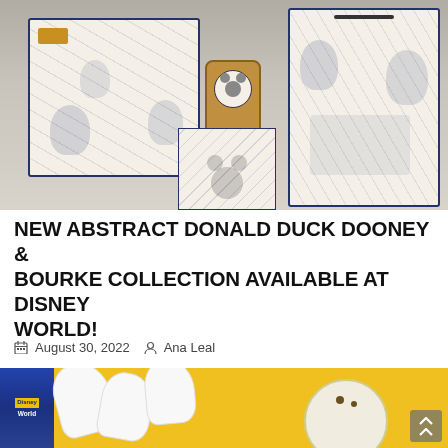[Figure (photo): Photo of Donald Duck Dooney & Bourke collection items displayed on a shelf, including patterned bags, a Magic Band on a gold stand, and a display box, all featuring abstract Donald Duck and Mickey Mouse cartoon prints in navy blue on white background]
NEW ABSTRACT DONALD DUCK DOONEY & BOURKE COLLECTION AVAILABLE AT DISNEY WORLD!
August 30, 2022  Ana Leal
[Figure (photo): Partial photo showing Donald Duck merchandise with yellow background, white gloved hands, and a round plate or dish, with a Disney World sign visible at the top left]